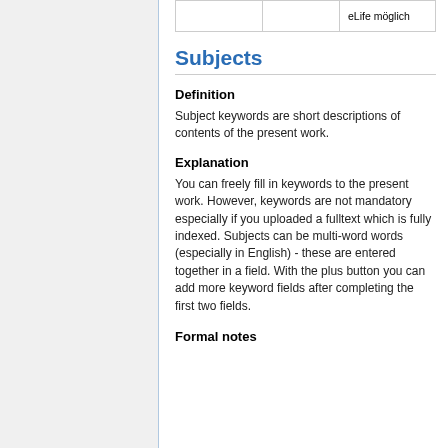|  |  | eLife möglich |
Subjects
Definition
Subject keywords are short descriptions of contents of the present work.
Explanation
You can freely fill in keywords to the present work. However, keywords are not mandatory especially if you uploaded a fulltext which is fully indexed. Subjects can be multi-word words (especially in English) - these are entered together in a field. With the plus button you can add more keyword fields after completing the first two fields.
Formal notes